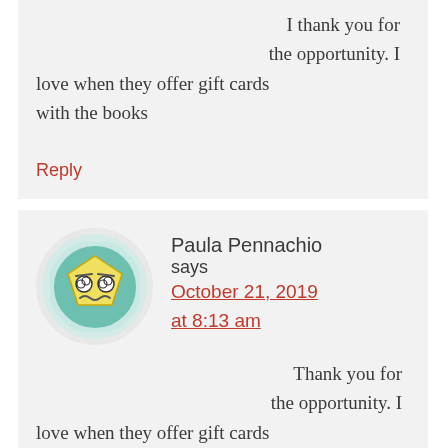I thank you for the opportunity. I love when they offer gift cards with the books
Reply
[Figure (illustration): Avatar of Paula Pennachio — a cartoon pentagon-shaped face with glasses and a wavy mouth on a teal/green circular background]
Paula Pennachio says
October 21, 2019 at 8:13 am
Thank you for the opportunity. I love when they offer gift cards with the books